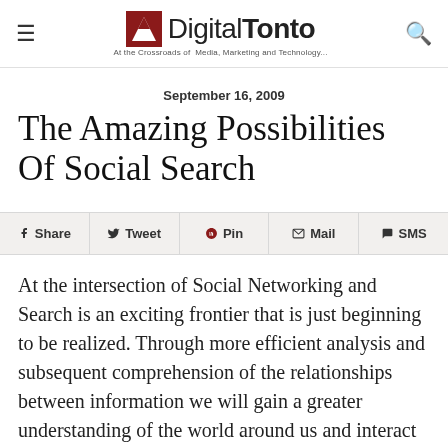Digital Tonto — At the Crossroads of Media, Marketing and Technology...
September 16, 2009
The Amazing Possibilities Of Social Search
Share  Tweet  Pin  Mail  SMS
At the intersection of Social Networking and Search is an exciting frontier that is just beginning to be realized.  Through more efficient analysis and subsequent comprehension of the relationships between information we will gain a greater understanding of the world around us and interact with it.  The implications for both publishers and